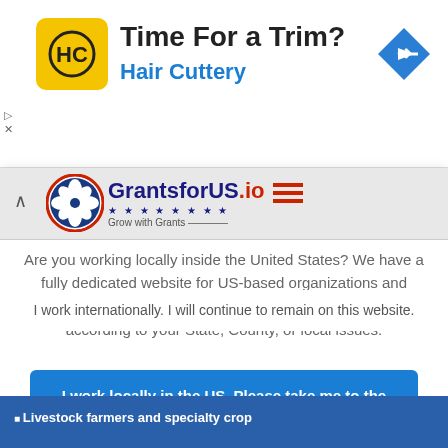[Figure (logo): Hair Cuttery advertisement banner with HC logo in yellow square and blue arrow direction sign]
Time For a Trim?
Hair Cuttery
[Figure (logo): GrantsforUS.io logo with circular patriotic flower emblem and stars]
Are you working locally inside the United States? We have a fully dedicated website for US-based organizations and individuals. This US Website will help you find grants according to your State, County, or local issues.
I work locally in the US. Please take me to the Dedicated US Website.
I work internationally. I will continue to remain on this website.
Livestock farmers and specialty crop